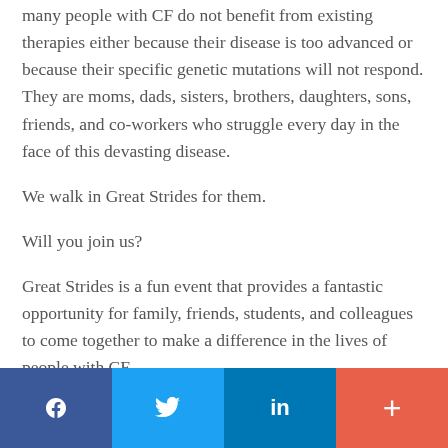many people with CF do not benefit from existing therapies either because their disease is too advanced or because their specific genetic mutations will not respond. They are moms, dads, sisters, brothers, daughters, sons, friends, and co-workers who struggle every day in the face of this devasting disease.
We walk in Great Strides for them.
Will you join us?
Great Strides is a fun event that provides a fantastic opportunity for family, friends, students, and colleagues to come together to make a difference in the lives of people with CF.
[Figure (other): Social media share buttons: Facebook (dark blue), Twitter (light blue), LinkedIn (medium blue), and a plus/share button (orange-red)]